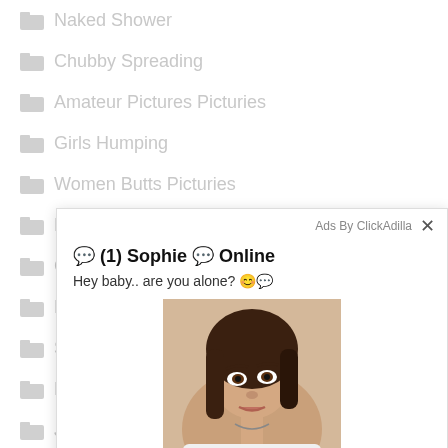Naked Shower
Chubby Spreading
Amateur Pictures Picturies
Girls Humping
Women Butts Picturies
Fe...
Cu...
Br...
Sh...
Ma...
Ja...
Ja...
Vintage Erotic...
[Figure (screenshot): Ad overlay popup from ClickAdilla showing a woman's photo with text '(1) Sophie Online' and 'Hey baby.. are you alone?' with a close button X and timestamp '2md']